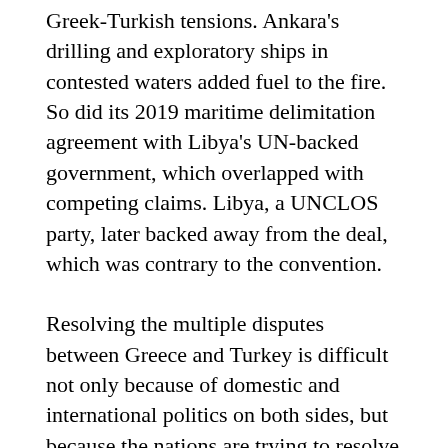Greek-Turkish tensions. Ankara's drilling and exploratory ships in contested waters added fuel to the fire. So did its 2019 maritime delimitation agreement with Libya's UN-backed government, which overlapped with competing claims. Libya, a UNCLOS party, later backed away from the deal, which was contrary to the convention.
Resolving the multiple disputes between Greece and Turkey is difficult not only because of domestic and international politics on both sides, but because the nations are trying to resolve their disputes using different sets of rules. Greece is applying UNCLOS rules, and Turkey, a nonparty, is not. Most of UNCLOS is now considered customary international law, meaning that it is applicable to all nations even those that have not signed it. A significant source of